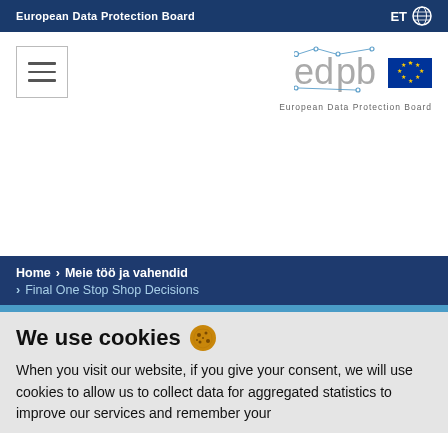European Data Protection Board | ET
[Figure (logo): EDPB logo with EU flag and text 'European Data Protection Board']
Home > Meie töö ja vahendid > Final One Stop Shop Decisions
We use cookies
When you visit our website, if you give your consent, we will use cookies to allow us to collect data for aggregated statistics to improve our services and remember your